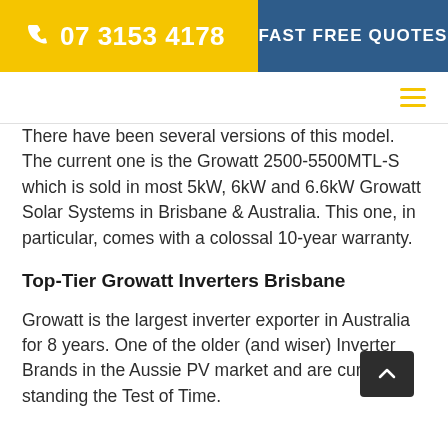07 3153 4178  FAST FREE QUOTES
There have been several versions of this model. The current one is the Growatt 2500-5500MTL-S which is sold in most 5kW, 6kW and 6.6kW Growatt Solar Systems in Brisbane & Australia. This one, in particular, comes with a colossal 10-year warranty.
Top-Tier Growatt Inverters Brisbane
Growatt is the largest inverter exporter in Australia for 8 years. One of the older (and wiser) Inverter Brands in the Aussie PV market and are currently standing the Test of Time.